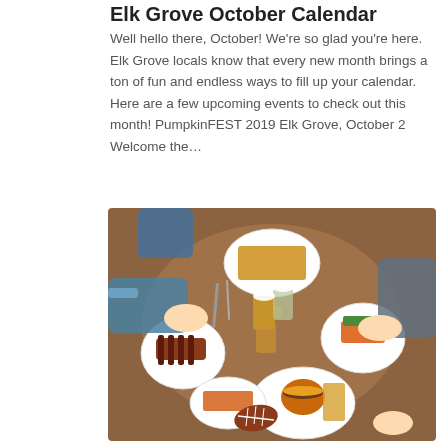Elk Grove October Calendar
Well hello there, October! We're so glad you're here. Elk Grove locals know that every new month brings a ton of fun and endless ways to fill up your calendar. Here are a few upcoming events to check out this month! PumpkinFEST 2019 Elk Grove, October 2 Welcome the…
[Figure (photo): Overhead view of people sitting around a round wooden table clinking beer and wine glasses, with plates of food including burgers, fries, ribs, and a Nike football visible on the table.]